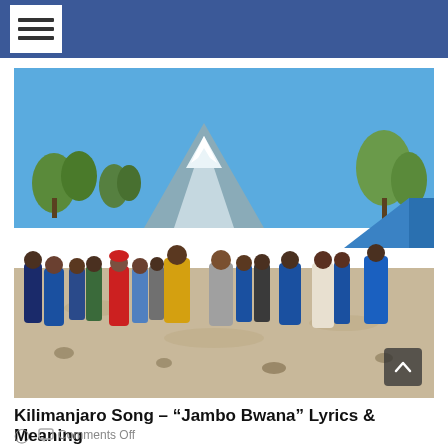☰ (navigation menu icon)
[Figure (photo): Group photo of hikers and guides at a camp on Mount Kilimanjaro. A large group of people in hiking gear pose together in front of a blue tent, with the snow-capped peak of Kilimanjaro visible in the background under a clear blue sky. Trees and rocky terrain surround them.]
Kilimanjaro Song – "Jambo Bwana" Lyrics & Meaning
🕐  💬 Comments Off